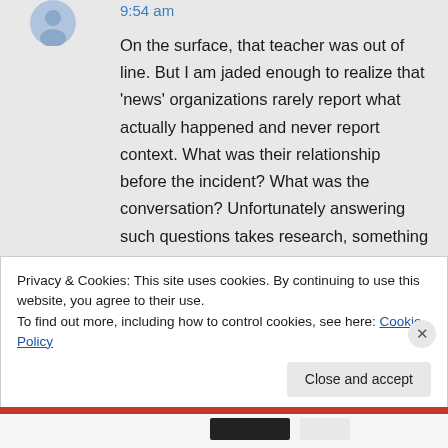9:54 am
On the surface, that teacher was out of line. But I am jaded enough to realize that 'news' organizations rarely report what actually happened and never report context. What was their relationship before the incident? What was the conversation? Unfortunately answering such questions takes research, something journalists scoff at these days. And if such questions were
Privacy & Cookies: This site uses cookies. By continuing to use this website, you agree to their use.
To find out more, including how to control cookies, see here: Cookie Policy
Close and accept